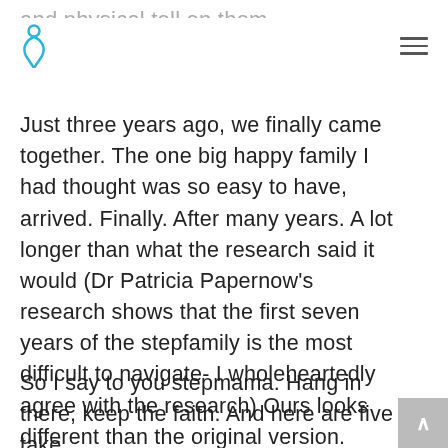[Logo icon] [Hamburger menu]
and physical toll on them.
Just three years ago, we finally came together. The one big happy family I had thought was so easy to have, arrived. Finally. After many years. A lot longer than what the research said it would (Dr Patricia Papernow’s research shows that the first seven years of the stepfamily is the most difficult to navigate- I wholeheartedly agree with the research) Ours looks different than the original version.
So I say to you stepmama. Hang in there, keep the faith. And here are five take